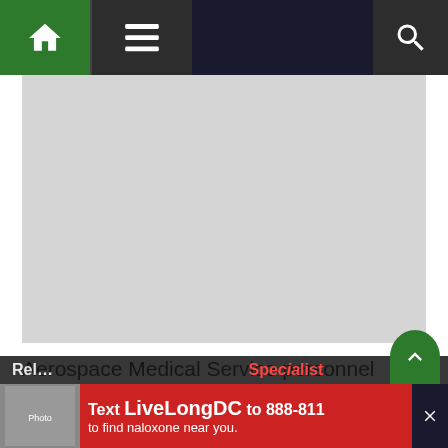[Figure (screenshot): Website navigation bar with green home icon, hamburger menu, dark background, and search icon on the right]
[Figure (photo): Gray placeholder image area]
Aerospace Medical Service personnel complete all of the training aspects for the above subjects including planning, scheduling and conducting the training.
Training and scheduling may include fire drills and evacuation training.
They will also participate in disaster field training.
[Figure (screenshot): Advertisement banner: Text LiveLongDC to 888-811 to find naloxone near you. Red background with image and DBH logo.]